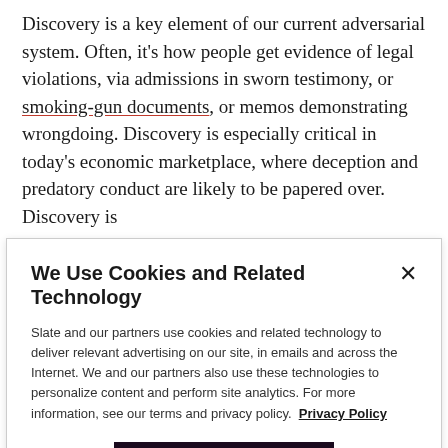Discovery is a key element of our current adversarial system. Often, it's how people get evidence of legal violations, via admissions in sworn testimony, or smoking-gun documents, or memos demonstrating wrongdoing. Discovery is especially critical in today's economic marketplace, where deception and predatory conduct are likely to be papered over. Discovery is
We Use Cookies and Related Technology
Slate and our partners use cookies and related technology to deliver relevant advertising on our site, in emails and across the Internet. We and our partners also use these technologies to personalize content and perform site analytics. For more information, see our terms and privacy policy. Privacy Policy